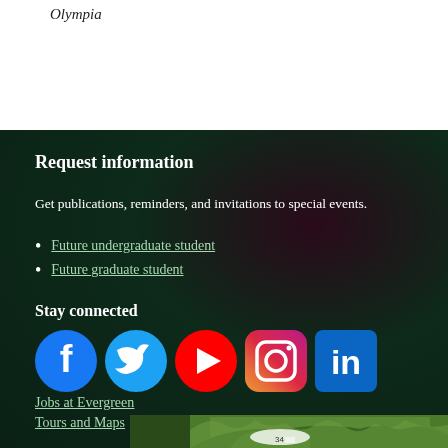Olympia
Request information
Get publications, reminders, and invitations to special events.
Future undergraduate student
Future graduate student
Stay connected
[Figure (infographic): Social media icons: Facebook, Twitter, YouTube, Instagram, LinkedIn]
Jobs at Evergreen
Tours and Maps
[Figure (map): Green map image showing campus or regional area]